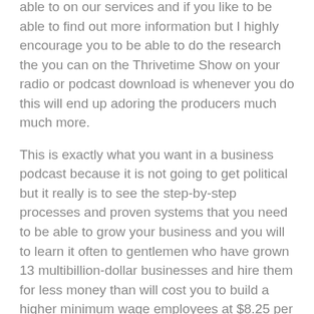able to on our services and if you like to be able to find out more information but I highly encourage you to be able to do the research the you can on the Thrivetime Show on your radio or podcast download is whenever you do this will end up adoring the producers much much more.
This is exactly what you want in a business podcast because it is not going to get political but it really is to see the step-by-step processes and proven systems that you need to be able to grow your business and you will to learn it often to gentlemen who have grown 13 multibillion-dollar businesses and hire them for less money than will cost you to build a higher minimum wage employees at $8.25 per hour. The do not hesitate to make sure that you will today because this opportunity cannot get better.
You want to be able to take the concrete action subtotal our services because of business podcast is going to be